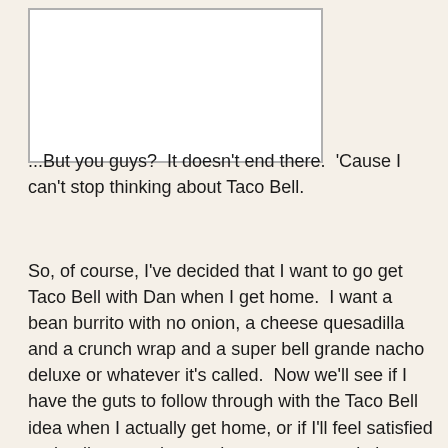[Figure (other): A white rectangular image placeholder with a grey border]
...But you guys?  It doesn't end there.  'Cause I can't stop thinking about Taco Bell.
So, of course, I've decided that I want to go get Taco Bell with Dan when I get home.  I want a bean burrito with no onion, a cheese quesadilla  and a crunch wrap and a super bell grande nacho deluxe or whatever it's called.  Now we'll see if I have the guts to follow through with the Taco Bell idea when I actually get home, or if I'll feel satisfied and guilty enough over the yogurt to not do it.
I know, I know, I shouldn't feel "guilty" over something like that.  But, I will.  I mean, it's been a vacation full of compliments and my head is huge now, especially 'cause you all are so damn sweet and supportive.  But I still am not to my goal.  I'm still overweight.  I just happen to carry my weight fairly well, and I'm blessed with decent proportions.  But I know how I feel and that the beginnings of muscle definition I have in my legs and the smaller waist I'm